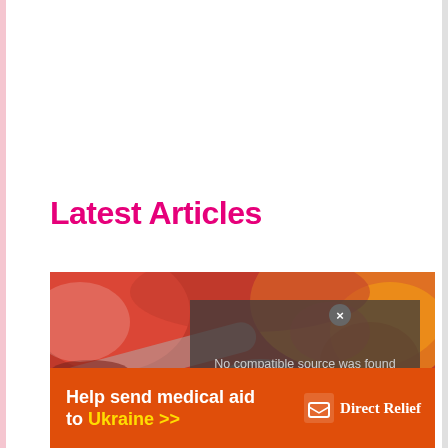Latest Articles
[Figure (photo): Close-up photo of red ingredients including what appears to be pomegranate seeds and red powder on a spoon, with orange/red food in background]
No compatible source was found for this media.
[Figure (infographic): Direct Relief advertisement banner: 'Help send medical aid to Ukraine >>' with Direct Relief logo on orange background]